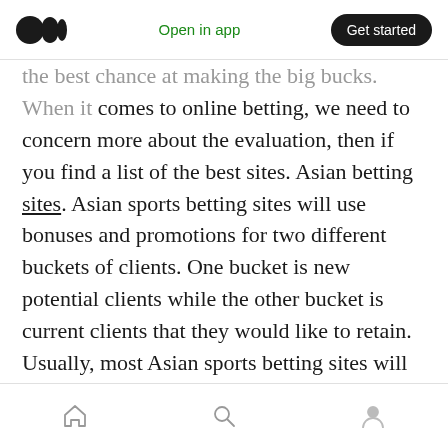Medium logo | Open in app | Get started
the best chance at making the big bucks. When it comes to online betting, we need to concern more about the evaluation, then if you find a list of the best sites. Asian betting sites. Asian sports betting sites will use bonuses and promotions for two different buckets of clients. One bucket is new potential clients while the other bucket is current clients that they would like to retain. Usually, most Asian sports betting sites will have promotions for both buckets of clientele. All of the Asia betting sites we've recommended at the top of the page have great mobile betting platforms that are the measuring stick for
Home | Search | Profile